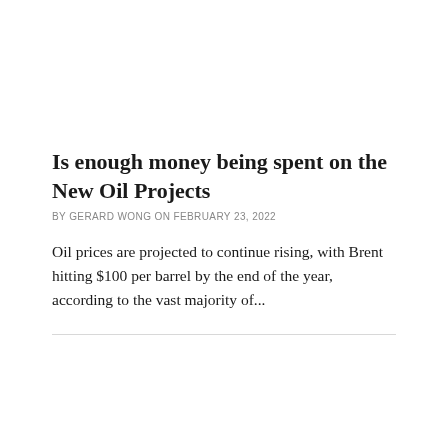Is enough money being spent on the New Oil Projects
BY GERARD WONG ON FEBRUARY 23, 2022
Oil prices are projected to continue rising, with Brent hitting $100 per barrel by the end of the year, according to the vast majority of...